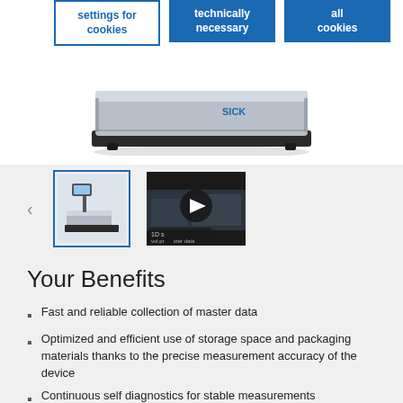[Figure (other): Cookie consent button bar with three buttons: 'settings for cookies' (outlined), 'technically necessary' (filled blue), 'all cookies' (filled blue)]
[Figure (photo): SICK branded product — a flat rectangular scale/measurement device with metallic surface, viewed from above at an angle]
[Figure (photo): Thumbnail image of the scale device with display monitor]
[Figure (other): Video thumbnail showing a warehouse/logistics scene with a play button overlay]
Your Benefits
Fast and reliable collection of master data
Optimized and efficient use of storage space and packaging materials thanks to the precise measurement accuracy of the device
Continuous self diagnostics for stable measurements
Data output immediately after object measurement, and short measuring cycles result in high process reliability and significant time savings